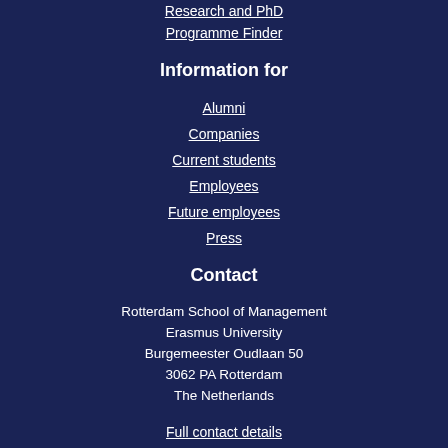Research and PhD
Programme Finder
Information for
Alumni
Companies
Current students
Employees
Future employees
Press
Contact
Rotterdam School of Management
Erasmus University
Burgemeester Oudlaan 50
3062 PA Rotterdam
The Netherlands
Full contact details
Follow us